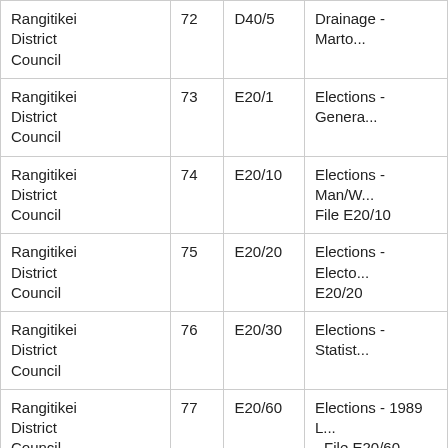|  |  |  |  |
| --- | --- | --- | --- |
| Rangitikei District Council | 72 | D40/5 | Drainage - Marto... |
| Rangitikei District Council | 73 | E20/1 | Elections - Genera... |
| Rangitikei District Council | 74 | E20/10 | Elections - Man/W... File E20/10 |
| Rangitikei District Council | 75 | E20/20 | Elections - Electo... E20/20 |
| Rangitikei District Council | 76 | E20/30 | Elections - Statist... |
| Rangitikei District Council | 77 | E20/60 | Elections - 1989 L... - File E20/60 |